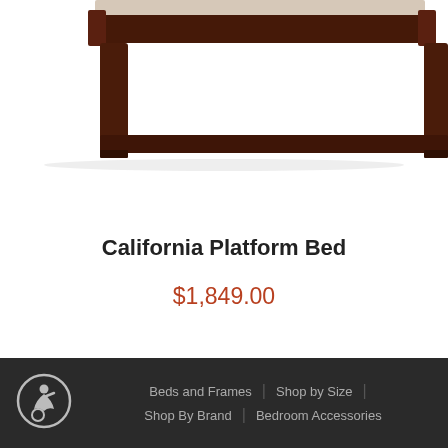[Figure (photo): Bottom portion of a dark walnut/espresso wood platform bed frame showing the footboard and legs on a white background]
California Platform Bed
$1,849.00
Beds and Frames | Shop by Size | Shop By Brand | Bedroom Accessories